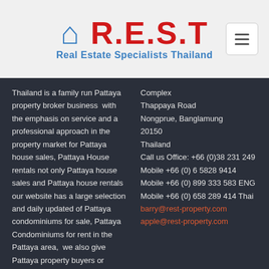[Figure (logo): R.E.S.T Real Estate Specialists Thailand logo with red text and blue subtitle]
Thailand is a family run Pattaya property broker business with the emphasis on service and a professional approach in the property market for Pattaya house sales, Pattaya House rentals not only Pattaya house sales and Pattaya house rentals our website has a large selection and daily updated of Pattaya condominiums for sale, Pattaya Condominiums for rent in the Pattaya area, we also give Pattaya property buyers or
Complex
Thappaya Road
Nongprue, Banglamung
20150
Thailand
Call us Office: +66 (0)38 231 249  Mobile +66 (0) 6 5828 9414
Mobile +66 (0) 899 333 583 ENG
Mobile +66 (0) 658 289 414 Thai
barry@rest-property.com
apple@rest-property.com